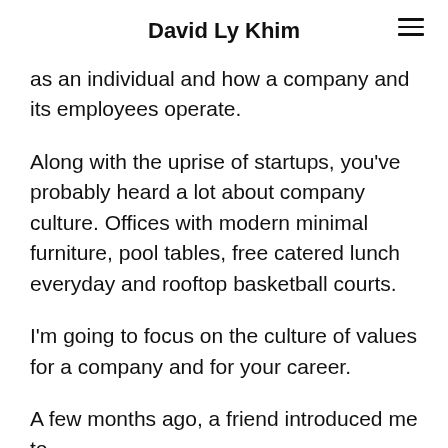David Ly Khim
as an individual and how a company and its employees operate.
Along with the uprise of startups, you’ve probably heard a lot about company culture. Offices with modern minimal furniture, pool tables, free catered lunch everyday and rooftop basketball courts.
I’m going to focus on the culture of values for a company and for your career.
A few months ago, a friend introduced me to